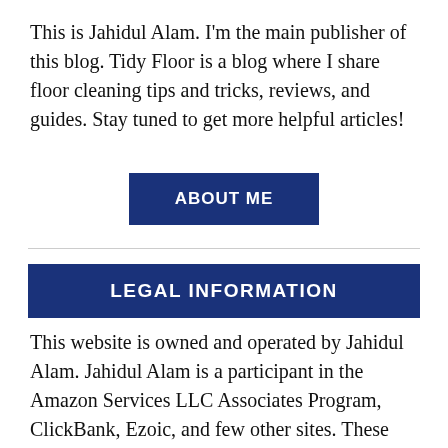This is Jahidul Alam. I'm the main publisher of this blog. Tidy Floor is a blog where I share floor cleaning tips and tricks, reviews, and guides. Stay tuned to get more helpful articles!
[Figure (other): Blue button labeled ABOUT ME]
LEGAL INFORMATION
This website is owned and operated by Jahidul Alam. Jahidul Alam is a participant in the Amazon Services LLC Associates Program, ClickBank, Ezoic, and few other sites. These affiliate advertising programs are designed to provide a means for sites to earn